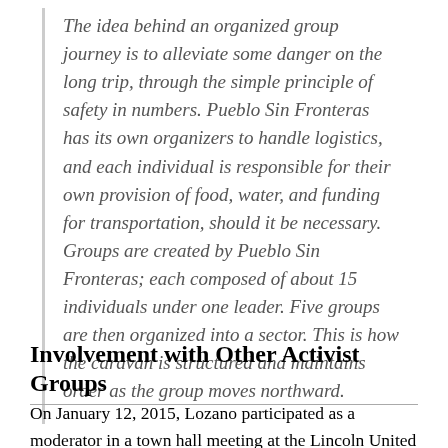The idea behind an organized group journey is to alleviate some danger on the long trip, through the simple principle of safety in numbers. Pueblo Sin Fronteras has its own organizers to handle logistics, and each individual is responsible for their own provision of food, water, and funding for transportation, should it be necessary. Groups are created by Pueblo Sin Fronteras; each composed of about 15 individuals under one leader. Five groups are then organized into a sector. This is how the caravan is structured and maintains order as the group moves northward.
Involvement with Other Activist Groups
On January 12, 2015, Lozano participated as a moderator in a town hall meeting at the Lincoln United Methodist Church in Chicago, where she is a pastor. The meeting was entitled